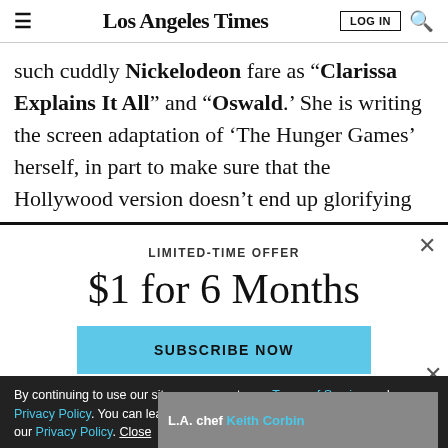Los Angeles Times
such cuddly Nickelodeon fare as “Clarissa Explains It All” and “Oswald.’ She is writing the screen adaptation of ‘The Hunger Games’ herself, in part to make sure that the Hollywood version doesn’t end up glorifying the media-saturated universe that the books critique,
LIMITED-TIME OFFER
$1 for 6 Months
SUBSCRIBE NOW
By continuing to use our site, you agree to our Terms of Service and Privacy Policy. You can learn more about how we use cookies by reviewing our Privacy Policy. Close